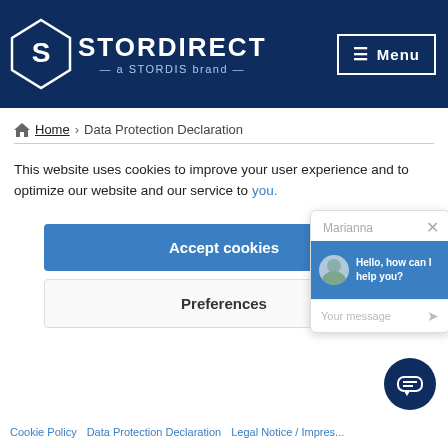[Figure (logo): StorDirect logo - a STORDIS brand, white text on dark navy background with diamond S icon]
Menu
Home > Data Protection Declaration
This website uses cookies to improve your user experience and to optimize our website and our service to you.
[Figure (screenshot): Chat widget popup showing 'Marianna' with close button, 'Hello, how can I help you?' message in blue, 'Your message' input field with send icon]
Accept cookies
Preferences
[Figure (illustration): Dark navy circular chat widget button with message lines icon]
Cookie Policy   Data Protection Declaration   Legal Notice / Impressum